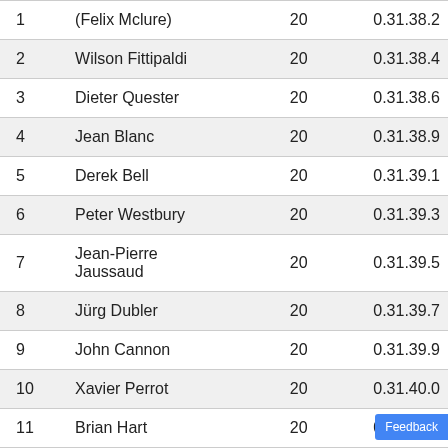| # | Name | Laps | Time |
| --- | --- | --- | --- |
| 1 | (Felix Mclure) | 20 | 0.31.38.2 |
| 2 | Wilson Fittipaldi | 20 | 0.31.38.4 |
| 3 | Dieter Quester | 20 | 0.31.38.6 |
| 4 | Jean Blanc | 20 | 0.31.38.9 |
| 5 | Derek Bell | 20 | 0.31.39.1 |
| 6 | Peter Westbury | 20 | 0.31.39.3 |
| 7 | Jean-Pierre Jaussaud | 20 | 0.31.39.5 |
| 8 | Jürg Dubler | 20 | 0.31.39.7 |
| 9 | John Cannon | 20 | 0.31.39.9 |
| 10 | Xavier Perrot | 20 | 0.31.40.0 |
| 11 | Brian Hart | 20 | 0.31.40.3 |
| 12 | Tom Walkinshaw | 20 | 0.31.40.5 |
| 13 | ... | 20 | 0.31.40.7 |